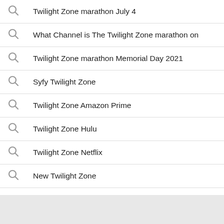Twilight Zone marathon July 4
What Channel is The Twilight Zone marathon on
Twilight Zone marathon Memorial Day 2021
Syfy Twilight Zone
Twilight Zone Amazon Prime
Twilight Zone Hulu
Twilight Zone Netflix
New Twilight Zone